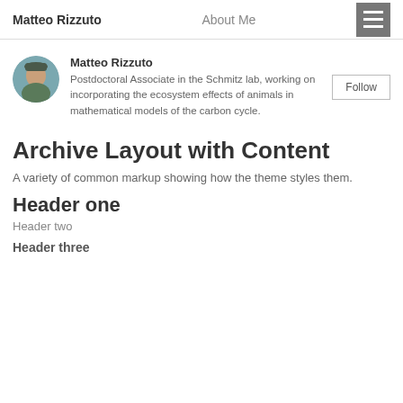Matteo Rizzuto   About Me
[Figure (photo): Circular avatar photo of Matteo Rizzuto outdoors]
Matteo Rizzuto
Postdoctoral Associate in the Schmitz lab, working on incorporating the ecosystem effects of animals in mathematical models of the carbon cycle.
Archive Layout with Content
A variety of common markup showing how the theme styles them.
Header one
Header two
Header three